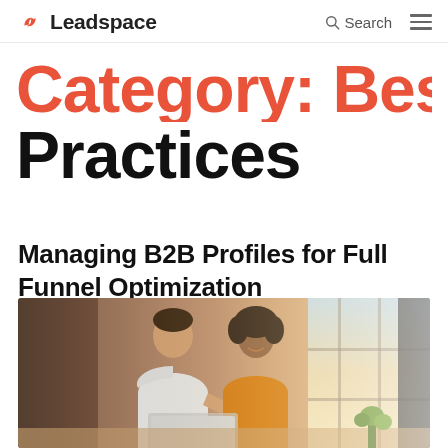Search | Leadspace ≡
Category: Best Practices
Managing B2B Profiles for Full Funnel Optimization
[Figure (photo): Two colleagues, a man and a woman, smiling and looking at a laptop in a modern office with large windows and warm sunlight.]